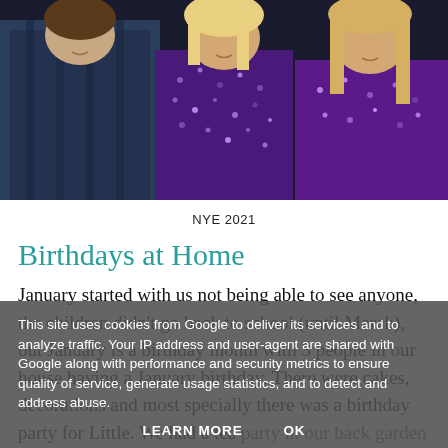[Figure (photo): Photo of three children/young people dressed in party attire — one in a plaid shirt on the left, one in a purple sequined dress in the center, and one in a purple sequined top on the right. Dark background.]
NYE 2021
Birthdays at Home
January started with us not being able to see anyone, the children didn't go back to school (until March), but January is a birthday month with 3 people in our house having a January birthday. There were cakes, decorations and most specially there was a birthday party for Little. We had a tea party in our back garden (in January) and we decorated with shares on the table. The poor the payer and we invited family to join in by Zoom and she blew her cake candles out on camera.
This site uses cookies from Google to deliver its services and to analyze traffic. Your IP address and user-agent are shared with Google along with performance and security metrics to ensure quality of service, generate usage statistics, and to detect and address abuse.

LEARN MORE    OK